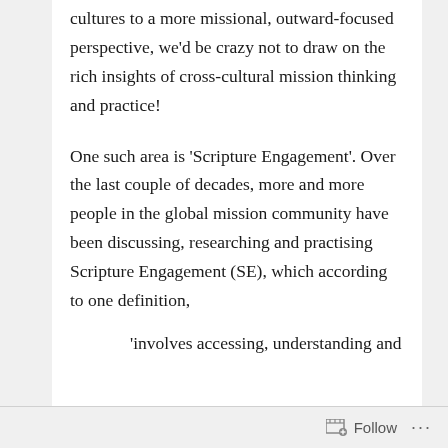cultures to a more missional, outward-focused perspective, we'd be crazy not to draw on the rich insights of cross-cultural mission thinking and practice!
One such area is ‘Scripture Engagement’. Over the last couple of decades, more and more people in the global mission community have been discussing, researching and practising Scripture Engagement (SE), which according to one definition,
‘involves accessing, understanding and
Follow